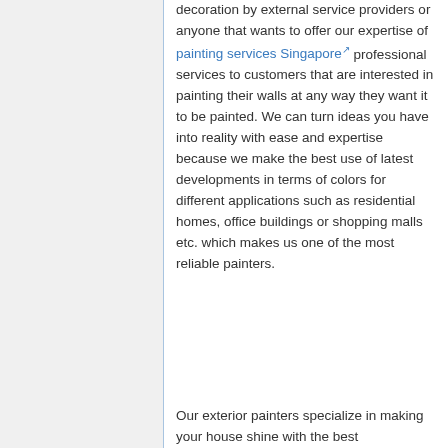decoration by external service providers or anyone that wants to offer our expertise of painting services Singapore professional services to customers that are interested in painting their walls at any way they want it to be painted. We can turn ideas you have into reality with ease and expertise because we make the best use of latest developments in terms of colors for different applications such as residential homes, office buildings or shopping malls etc. which makes us one of the most reliable painters.
Our exterior painters specialize in making your house shine with the best